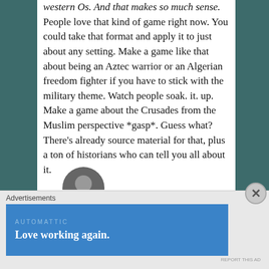western Os. And that makes so much sense. People love that kind of game right now. You could take that format and apply it to just about any setting. Make a game like that about being an Aztec warrior or an Algerian freedom fighter if you have to stick with the military theme. Watch people soak. it. up. Make a game about the Crusades from the Muslim perspective *gasp*. Guess what? There's already source material for that, plus a ton of historians who can tell you all about it.
[Figure (photo): Profile photo of author, partially visible at bottom of article area]
Advertisements
[Figure (screenshot): Advertisement banner for Automattic with tagline 'Love working again.' on blue background]